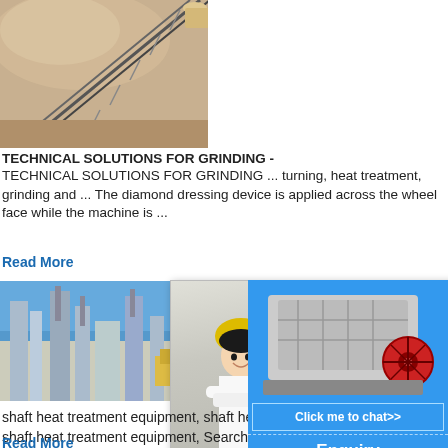[Figure (photo): Industrial conveyor belt or mining equipment structure against dusty sky]
TECHNICAL SOLUTIONS FOR GRINDING -
TECHNICAL SOLUTIONS FOR GRINDING ... turning, heat treatment, grinding and ... The diamond dressing device is applied across the wheel face while the machine is ...
Read More
[Figure (photo): Industrial factory or plant with tall structures and blue sky]
[Figure (screenshot): Live Chat popup overlay with woman in hard hat, Chat now and Chat later buttons]
shaft heat treatment equipment, shaft heat
shaft heat treatment equipment, Search tra...
heat treatment equipment products, manufa...
exporters
Read More
[Figure (photo): Jaw crusher or industrial crushing machine on blue background]
Click me to chat>>
Enquiry
limingjlmofen